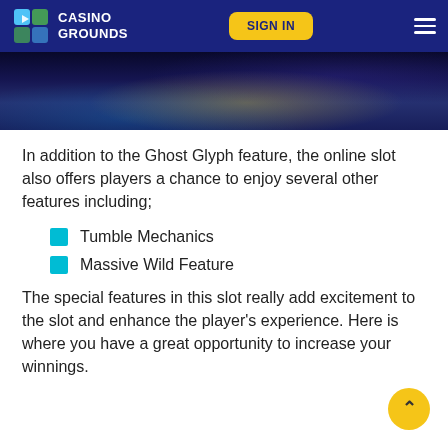CASINO GROUNDS | SIGN IN
[Figure (screenshot): Dark blue/purple toned hero image showing a slot game scene with glowing yellow and blue light effects]
In addition to the Ghost Glyph feature, the online slot also offers players a chance to enjoy several other features including;
Tumble Mechanics
Massive Wild Feature
The special features in this slot really add excitement to the slot and enhance the player's experience. Here is where you have a great opportunity to increase your winnings.